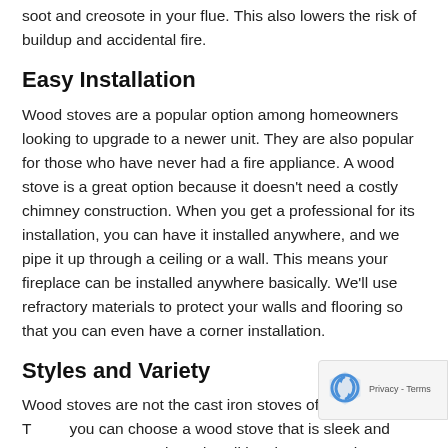soot and creosote in your flue. This also lowers the risk of buildup and accidental fire.
Easy Installation
Wood stoves are a popular option among homeowners looking to upgrade to a newer unit. They are also popular for those who have never had a fire appliance. A wood stove is a great option because it doesn't need a costly chimney construction. When you get a professional for its installation, you can have it installed anywhere, and we pipe it up through a ceiling or a wall. This means your fireplace can be installed anywhere basically. We'll use refractory materials to protect your walls and flooring so that you can even have a corner installation.
Styles and Variety
Wood stoves are not the cast iron stoves of the past. Today you can choose a wood stove that is sleek and contemporary or rustic and traditional. You can choose any size, large or small, with fire viewing windows, wood stack holders, and